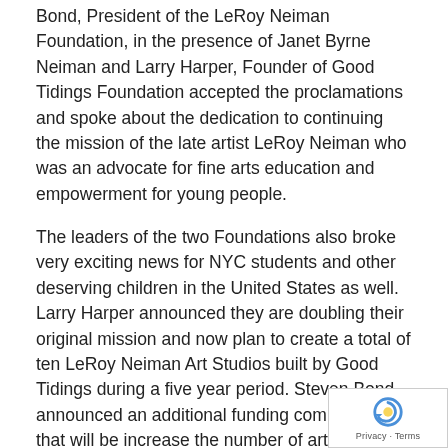Bond, President of the LeRoy Neiman Foundation, in the presence of Janet Byrne Neiman and Larry Harper, Founder of Good Tidings Foundation accepted the proclamations and spoke about the dedication to continuing the mission of the late artist LeRoy Neiman who was an advocate for fine arts education and empowerment for young people.
The leaders of the two Foundations also broke very exciting news for NYC students and other deserving children in the United States as well. Larry Harper announced they are doubling their original mission and now plan to create a total of ten LeRoy Neiman Art Studios built by Good Tidings during a five year period. Steven Bond announced an additional funding commitment that will be increase the number of art classes at Union Settlement from three to five days per week.
The ceremony also featured the first look at a mural created by children under the direction of artist Alice Mizrachi. The students worked for three eight hour days to conceive and paint the vibrant work of art.